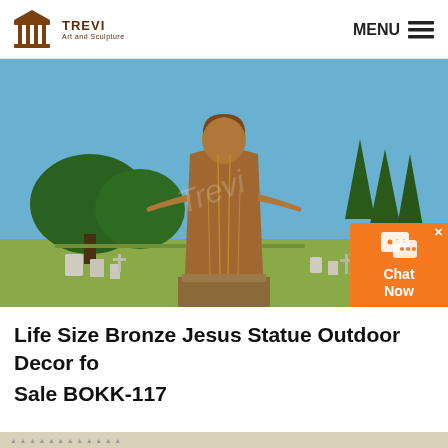TREVI Art and Sculpture | MENU
[Figure (photo): Bronze statue of Jesus Christ with arms outstretched, standing on a pedestal in an outdoor cemetery setting with trees and gravestones in the background under a blue sky.]
Life Size Bronze Jesus Statue Outdoor Decor for Sale BOKK-117